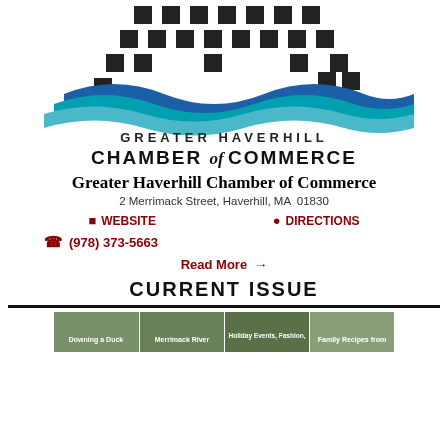[Figure (logo): Greater Haverhill Chamber of Commerce logo with building silhouette squares and blue/teal wave design]
Greater Haverhill Chamber of Commerce
2 Merrimack Street, Haverhill, MA  01830
WEBSITE   DIRECTIONS
(978) 373-5663
Read More →
CURRENT ISSUE
[Figure (photo): Newsletter cover image showing sections: Downing a Duck, Merrimack River, Holiday Events Fashion, Family Recipes from]